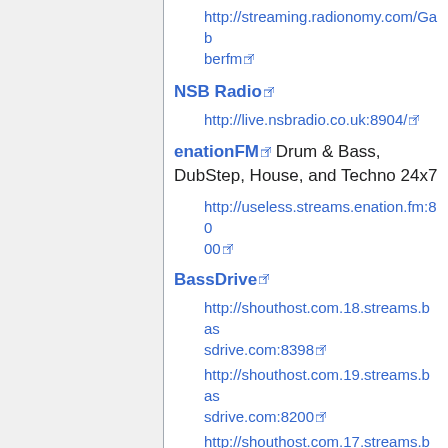http://streaming.radionomy.com/Gabberfm
NSB Radio
http://live.nsbradio.co.uk:8904/
enationFM Drum & Bass, DubStep, House, and Techno 24x7
http://useless.streams.enation.fm:8000
BassDrive
http://shouthost.com.18.streams.bassdrive.com:8398
http://shouthost.com.19.streams.bassdrive.com:8200
http://shouthost.com.17.streams.bassdrive.com:8200
DanceRadio FreestyleFM (Disco, Dance, Trance, 80's, 90's, Top40)